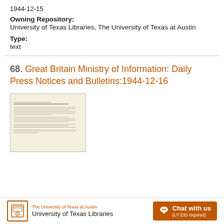1944-12-15
Owning Repository:
University of Texas Libraries, The University of Texas at Austin
Type:
text
68. Great Britain Ministry of Information: Daily Press Notices and Bulletins:1944-12-16
[Figure (photo): Thumbnail image of a historical document page with typed text on aged paper]
The University of Texas at Austin University of Texas Libraries  Chat with us (UT EID required)